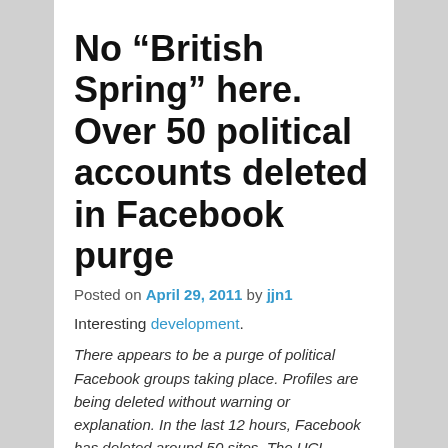No “British Spring” here. Over 50 political accounts deleted in Facebook purge
Posted on April 29, 2011 by jjn1
Interesting development.
There appears to be a purge of political Facebook groups taking place. Profiles are being deleted without warning or explanation. In the last 12 hours, Facebook has deleted around 50 sites. The UCL Occupation account is still up for the moment, but for how long we don’t know. It may well be that these groups are technically in violation of Facebook’s terms of